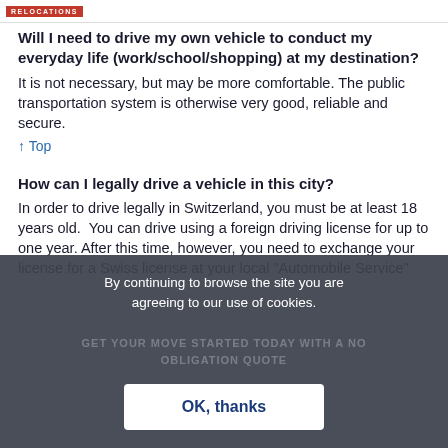RELOCATIONS
Will I need to drive my own vehicle to conduct my everyday life (work/school/shopping) at my destination? It is not necessary, but may be more comfortable. The public transportation system is otherwise very good, reliable and secure.
↑ Top
How can I legally drive a vehicle in this city?
In order to drive legally in Switzerland, you must be at least 18 years old.  You can drive using a foreign driving license for up to one year. After this time, however, you need to exchange your license for a Swiss license at your local "Automobile Service" (Service des Automobiles).
By continuing to browse the site you are agreeing to our use of cookies.
GET YOUR MOVE STARTED TODAY WITH A NO OBLIGATION QUOTE
OK, thanks